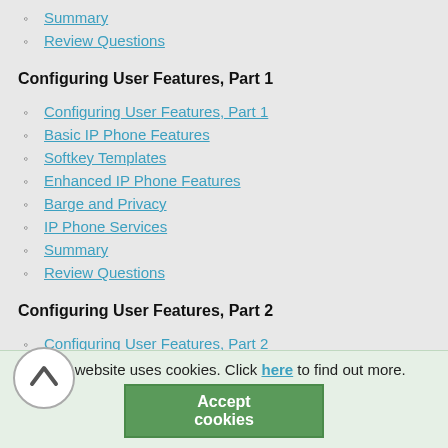Summary
Review Questions
Configuring User Features, Part 1
Configuring User Features, Part 1
Basic IP Phone Features
Softkey Templates
Enhanced IP Phone Features
Barge and Privacy
IP Phone Services
Summary
Review Questions
Configuring User Features, Part 2
Configuring User Features, Part 2
Cisco CallManager Extension Mobility
Client Matter Codes and Forced Authentication Codes
Call Display Restrictions
Malicious Call Identification
Multilevel Precedence and Preemption
This website uses cookies. Click here to find out more. Accept cookies